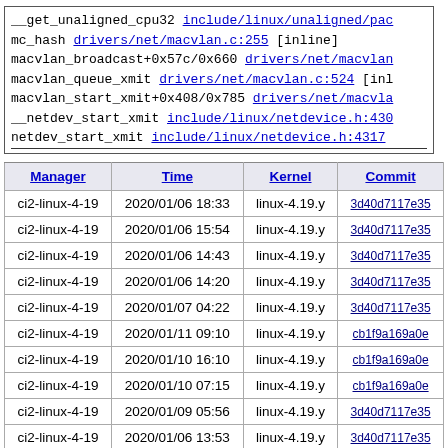__get_unaligned_cpu32 include/linux/unaligned/pac mc_hash drivers/net/macvlan.c:255 [inline] macvlan_broadcast+0x57c/0x660 drivers/net/macvlan macvlan_queue_xmit drivers/net/macvlan.c:524 [inl macvlan_start_xmit+0x408/0x785 drivers/net/macvla __netdev_start_xmit include/linux/netdevice.h:430 netdev_start_xmit include/linux/netdevice.h:4317
| Manager | Time | Kernel | Commit |
| --- | --- | --- | --- |
| ci2-linux-4-19 | 2020/01/06 18:33 | linux-4.19.y | 3d40d7117e35 |
| ci2-linux-4-19 | 2020/01/06 15:54 | linux-4.19.y | 3d40d7117e35 |
| ci2-linux-4-19 | 2020/01/06 14:43 | linux-4.19.y | 3d40d7117e35 |
| ci2-linux-4-19 | 2020/01/06 14:20 | linux-4.19.y | 3d40d7117e35 |
| ci2-linux-4-19 | 2020/01/07 04:22 | linux-4.19.y | 3d40d7117e35 |
| ci2-linux-4-19 | 2020/01/11 09:10 | linux-4.19.y | cb1f9a169a0e |
| ci2-linux-4-19 | 2020/01/10 16:10 | linux-4.19.y | cb1f9a169a0e |
| ci2-linux-4-19 | 2020/01/10 07:15 | linux-4.19.y | cb1f9a169a0e |
| ci2-linux-4-19 | 2020/01/09 05:56 | linux-4.19.y | 3d40d7117e35 |
| ci2-linux-4-19 | 2020/01/06 13:53 | linux-4.19.y | 3d40d7117e35 |
* Struck through repros no longer work on HEAD.